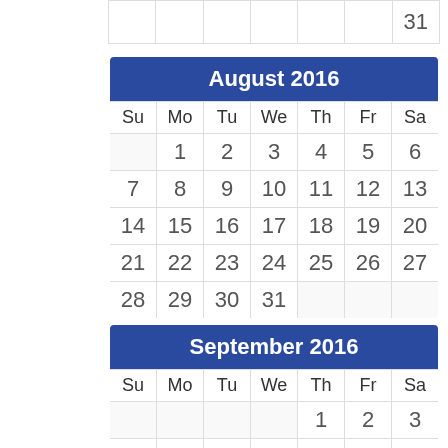| Su | Mo | Tu | We | Th | Fr | Sa |
| --- | --- | --- | --- | --- | --- | --- |
|  |  |  |  |  |  | 31 |
| Su | Mo | Tu | We | Th | Fr | Sa |
| --- | --- | --- | --- | --- | --- | --- |
|  | 1 | 2 | 3 | 4 | 5 | 6 |
| 7 | 8 | 9 | 10 | 11 | 12 | 13 |
| 14 | 15 | 16 | 17 | 18 | 19 | 20 |
| 21 | 22 | 23 | 24 | 25 | 26 | 27 |
| 28 | 29 | 30 | 31 |  |  |  |
| Su | Mo | Tu | We | Th | Fr | Sa |
| --- | --- | --- | --- | --- | --- | --- |
|  |  |  |  | 1 | 2 | 3 |
| 4 | 5 | 6 | 7 | 8 | 9 | 10 |
| 11 | 12 | 13 | 14 | 15 | 16 | 17 |